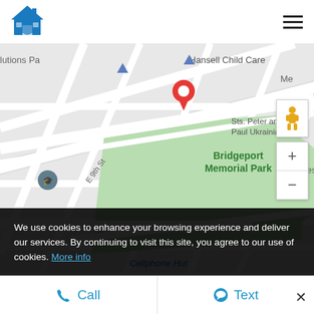[Figure (logo): Blue house icon logo]
[Figure (map): Google Maps view showing Bridgeport Memorial Park area with a red location pin near Hansell Child Care, street labels including E 9th St, Hurst St, markers for Sts. Peter and Paul Ukrainian church, and Cellphone Hut]
We use cookies to enhance your browsing experience and deliver our services. By continuing to visit this site, you agree to our use of cookies. More info
Call
Text